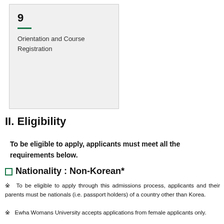9
Orientation and Course Registration
II. Eligibility
To be eligible to apply, applicants must meet all the requirements below.
Nationality : Non-Korean*
※ To be eligible to apply through this admissions process, applicants and their parents must be nationals (i.e. passport holders) of a country other than Korea.
※ Ewha Womans University accepts applications from female applicants only.